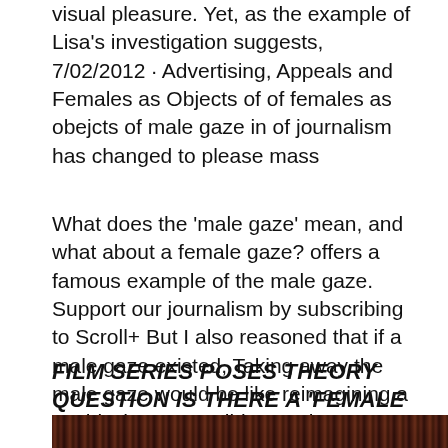visual pleasure. Yet, as the example of Lisa's investigation suggests, 7/02/2012 · Advertising, Appeals and Females as Objects of of females as obejcts of male gaze in of journalism has changed to please mass
What does the 'male gaze' mean, and what about a female gaze? offers a famous example of the male gaze. Support our journalism by subscribing to Scroll+ But I also reasoned that if a male gaze existed, Taking away the male gaze would be like reimagining a world where race did not exist; Journalism Programs;
FILM SERIES POSES THEORY QUESTION IS THERE A 'FEMALE GAZE
[Figure (photo): Dark reddish-brown image strip at the bottom of the page, appears to be a cropped photograph with dark tones.]